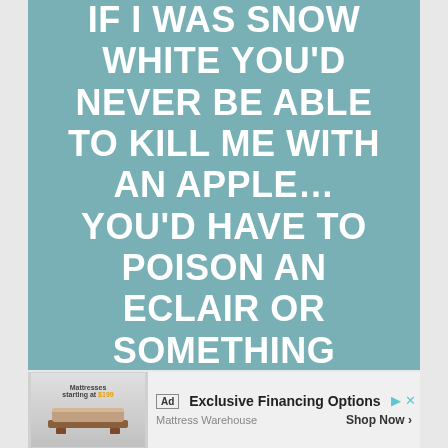[Figure (illustration): Teal/muted blue-green square background with large white bold uppercase text: IF I WAS SNOW WHITE YOU'D NEVER BE ABLE TO KILL ME WITH AN APPLE...YOU'D HAVE TO POISON AN ECLAIR OR SOMETHING]
Ad | Exclusive Financing Options | Mattress Warehouse | Shop Now >